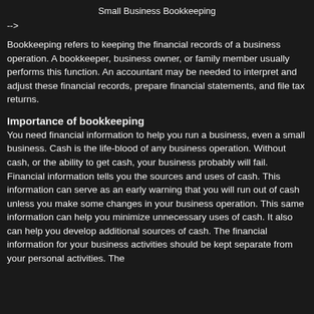Small Business Bookkeeping
-->
Bookkeeping refers to keeping the financial records of a business operation. A bookkeeper, business owner, or family member usually performs this function. An accountant may be needed to interpret and adjust these financial records, prepare financial statements, and file tax returns.
Importance of bookkeeping
You need financial information to help you run a business, even a small business. Cash is the life-blood of any business operation. Without cash, or the ability to get cash, your business probably will fail. Financial information tells you the sources and uses of cash. This information can serve as an early warning that you will run out of cash unless you make some changes in your business operation. This same information can help you minimize unnecessary uses of cash. It also can help you develop additional sources of cash. The financial information for your business activities should be kept separate from your personal activities. The